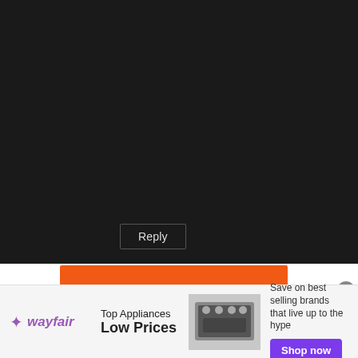2016-05-13 at 01:42
Uh oh, that busty maid that Edgar chose is going to report the findings to her dad... — no I haven't read ahead 🙂 just conjecture on from a few chapters back for the secret meeting she had.
★ Loading...
Reply
[Figure (infographic): Direct Relief advertisement: orange banner with logo and text 'Help send medical aid to Ukraine >>']
[Figure (infographic): Wayfair advertisement: white banner with wayfair logo, 'Top Appliances Low Prices', appliance image, and 'Save on best selling brands that live up to the hype' with 'Shop now' button]